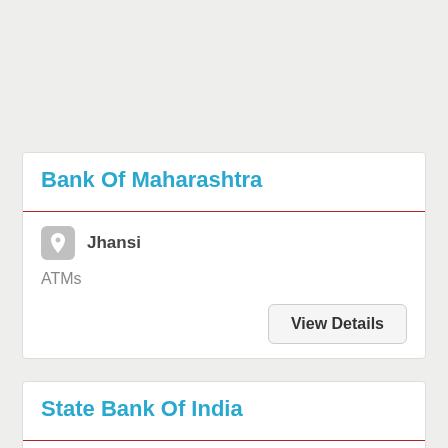Bank Of Maharashtra
Jhansi
ATMs
View Details
State Bank Of India
Jhansi